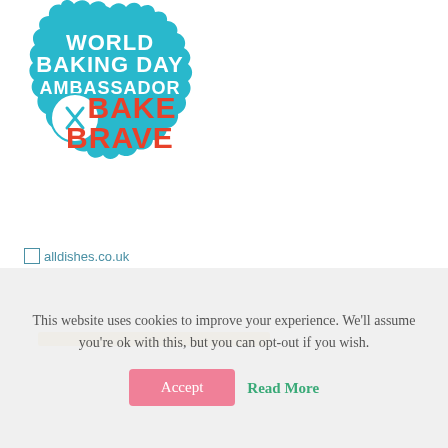[Figure (logo): World Baking Day Ambassador badge - a teal/sky-blue scalloped circle badge with white text 'WORLD BAKING DAY AMBASSADOR' at top, a crossed spoon and whisk icon in a white circle, and bold red text 'BAKE BRAVE']
alldishes.co.uk
This website uses cookies to improve your experience. We'll assume you're ok with this, but you can opt-out if you wish.
Accept
Read More